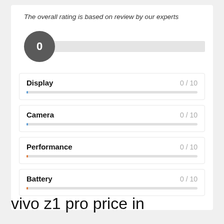The overall rating is based on review by our experts
[Figure (infographic): Circle badge showing score 0 with a gray horizontal bar extending to the right]
[Figure (infographic): Display rating card showing 0 / 10 with a thin bar below]
[Figure (infographic): Camera rating card showing 0 / 10 with a thin bar below]
[Figure (infographic): Performance rating card showing 0 / 10 with a thin bar below]
[Figure (infographic): Battery rating card showing 0 / 10 with a thin bar below]
vivo z1 pro price in